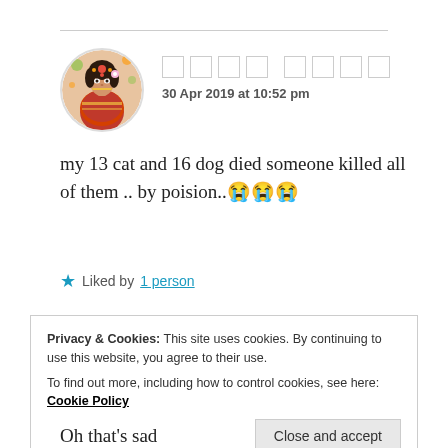[Figure (illustration): Circular avatar photo of a woman in traditional Indian bridal attire with colorful decorations]
□□□□ □□□□
30 Apr 2019 at 10:52 pm
my 13 cat and 16 dog died someone killed all of them .. by poision..😭😭😭
★ Liked by 1 person
Privacy & Cookies: This site uses cookies. By continuing to use this website, you agree to their use.
To find out more, including how to control cookies, see here: Cookie Policy
Close and accept
Oh that's sad